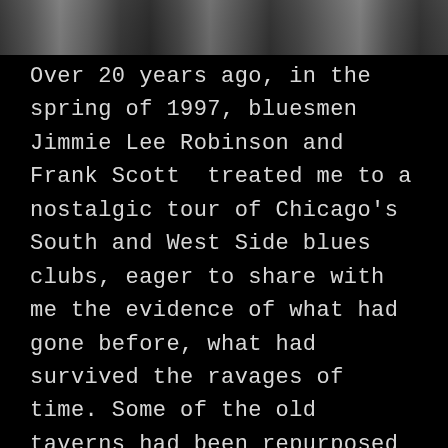[Figure (photo): Partial black and white photograph at top of page showing people, cropped so only the lower portion of figures is visible against a dark background.]
Over 20 years ago, in the spring of 1997, bluesmen Jimmie Lee Robinson and Frank Scott  treated me to a nostalgic tour of Chicago's South and West Side blues clubs, eager to share with me the evidence of what had gone before, what had survived the ravages of time. Some of the old taverns had been repurposed – a church, a shop, a soup kitchen, a motorcycle gang headquarters. Wood rots, walls fall, and nature takes its toll. Most of what remained had been saved by chance or accident – old buildings that, as if by miracle, still stood amidst rubble or beside a vacant lot. I was delighted to snap some shots and listen to their stories.